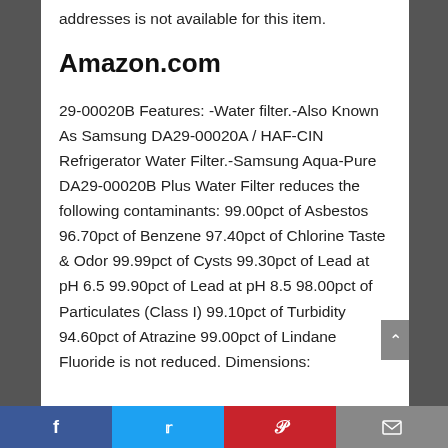addresses is not available for this item.
Amazon.com
29-00020B Features: -Water filter.-Also Known As Samsung DA29-00020A / HAF-CIN Refrigerator Water Filter.-Samsung Aqua-Pure DA29-00020B Plus Water Filter reduces the following contaminants: 99.00pct of Asbestos 96.70pct of Benzene 97.40pct of Chlorine Taste & Odor 99.99pct of Cysts 99.30pct of Lead at pH 6.5 99.90pct of Lead at pH 8.5 98.00pct of Particulates (Class I) 99.10pct of Turbidity 94.60pct of Atrazine 99.00pct of Lindane Fluoride is not reduced. Dimensions:
Facebook | Twitter | Pinterest | Mail